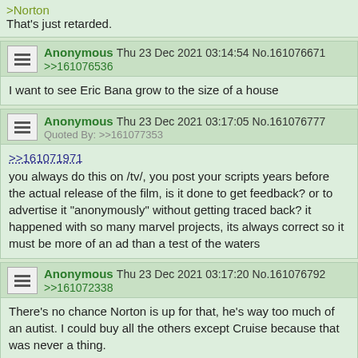>Norton
That's just retarded.
Anonymous Thu 23 Dec 2021 03:14:54 No.161076671
>>161076536
I want to see Eric Bana grow to the size of a house
Anonymous Thu 23 Dec 2021 03:17:05 No.161076777
Quoted By: >>161077353
>>161071971
you always do this on /tv/, you post your scripts years before the actual release of the film, is it done to get feedback? or to advertise it "anonymously" without getting traced back? it happened with so many marvel projects, its always correct so it must be more of an ad than a test of the waters
Anonymous Thu 23 Dec 2021 03:17:20 No.161076792
>>161072338
There's no chance Norton is up for that, he's way too much of an autist. I could buy all the others except Cruise because that was never a thing.
Anonymous Thu 23 Dec 2021 03:20:00 No.161076910
Hilariously fake